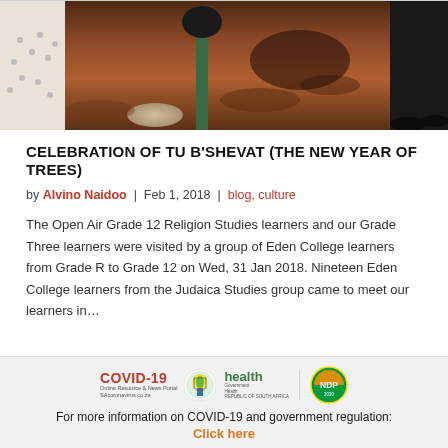[Figure (photo): People planting a tree with a shovel tool, red/brown soil, close-up view of hands and feet near the ground]
CELEBRATION OF TU B'SHEVAT (THE NEW YEAR OF TREES)
by Alvino Naidoo | Feb 1, 2018 | blog, culture
The Open Air Grade 12 Religion Studies learners and our Grade Three learners were visited by a group of Eden College learners from Grade R to Grade 12 on Wed, 31 Jan 2018. Nineteen Eden College learners from the Judaica Studies group came to meet our learners in…
[Figure (logo): COVID-19 Online Resource & News Portal, SA Government Health logo, and NDP 2030 logo]
For more information on COVID-19 and government regulation:
Click here